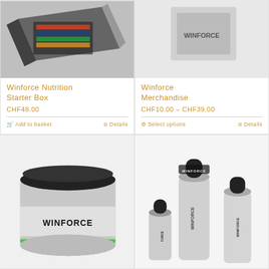[Figure (photo): Winforce Nutrition Starter Box product image - dark box with nutrition products]
Winforce Nutrition Starter Box
CHF48.00
Add to basket
Details
[Figure (photo): Winforce Merchandise product image - sports apparel/gear]
Winforce Merchandise
CHF10.00 – CHF39.00
Select options
Details
[Figure (photo): Winforce supplement powder tub with black lid and green label]
[Figure (photo): Multiple Winforce branded water bottles of different sizes]